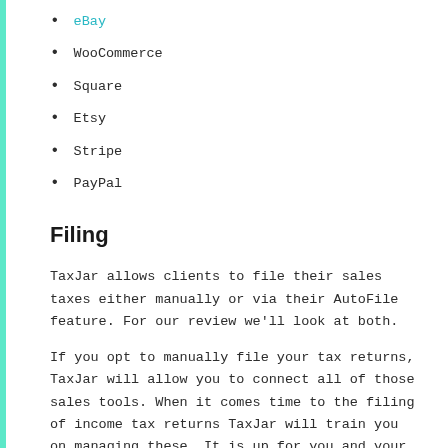eBay
WooCommerce
Square
Etsy
Stripe
PayPal
Filing
TaxJar allows clients to file their sales taxes either manually or via their AutoFile feature. For our review we'll look at both.
If you opt to manually file your tax returns, TaxJar will allow you to connect all of those sales tools. When it comes time to the filing of income tax returns TaxJar will train you on managing these. It is up for you and your staff to complete the process within the timeframe. TaxJar will only provide guidance on what you should accomplish, but not manage it.